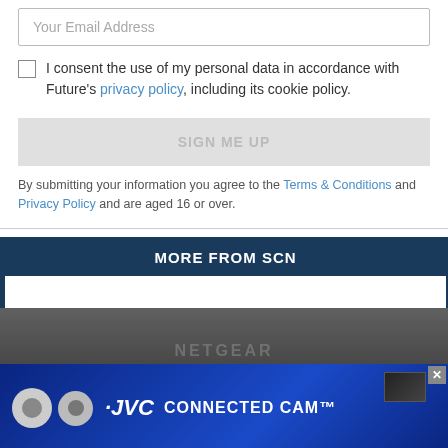Your Email Address
I consent the use of my personal data in accordance with Future's privacy policy, including its cookie policy.
SIGN ME UP
By submitting your information you agree to the Terms & Conditions and Privacy Policy and are aged 16 or over.
MORE FROM SCN
[Figure (photo): Netgear device hardware product image, partially visible at top of advertisement banner]